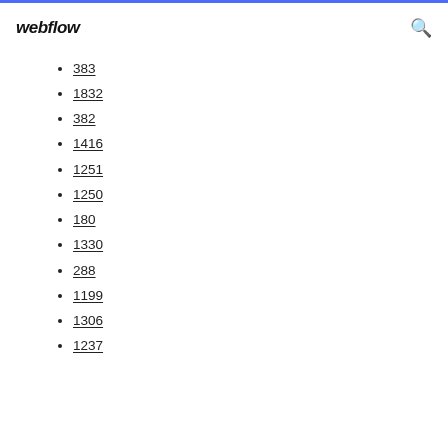webflow
383
1832
382
1416
1251
1250
180
1330
288
1199
1306
1237